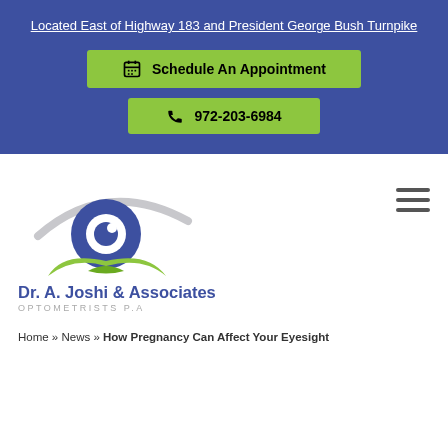Located East of Highway 183 and President George Bush Turnpike
Schedule An Appointment
972-203-6984
[Figure (logo): Dr. A. Joshi & Associates Optometrists P.A logo with stylized eye graphic in blue and green]
Home » News » How Pregnancy Can Affect Your Eyesight